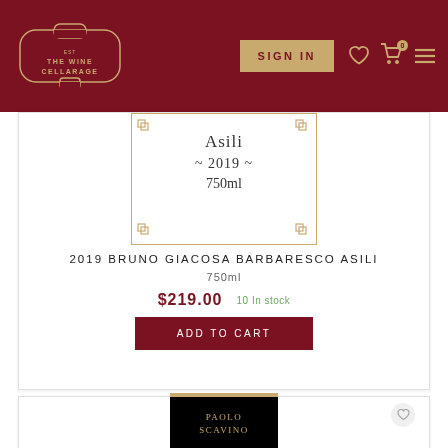THE WINE CELLARAGE | SIGN IN
[Figure (photo): Wine bottle label for Bruno Giacosa Barbaresco Asili 2019 750ml with gold border decorations]
2019 BRUNO GIACOSA BARBARESCO ASILI
750ml
$219.00  10 In stock
ADD TO CART
[Figure (photo): Paolo Scavino wine label - black background with gold ornate logo]